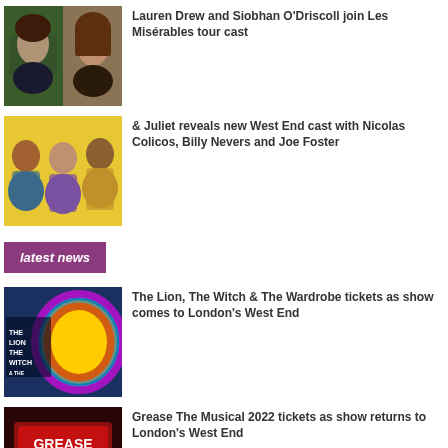[Figure (photo): Two female actors headshots side by side]
Lauren Drew and Siobhan O'Driscoll join Les Misérables tour cast
[Figure (photo): Three cast members from & Juliet in colorful costumes on yellow background]
& Juliet reveals new West End cast with Nicolas Colicos, Billy Nevers and Joe Foster
latest news
[Figure (photo): The Lion, The Witch & The Wardrobe colorful lion poster image]
The Lion, The Witch & The Wardrobe tickets as show comes to London's West End
[Figure (photo): Grease The Musical sign/poster in red tones]
Grease The Musical 2022 tickets as show returns to London's West End